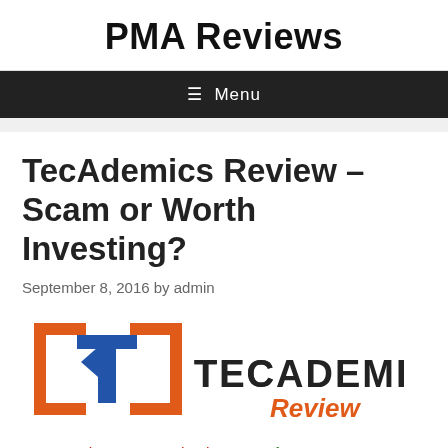PMA Reviews
≡ Menu
TecAdemics Review – Scam or Worth Investing?
September 8, 2016 by admin
[Figure (logo): TecAdemics Review logo — orange bracket icon with blue letter t, followed by TECADEMICS in black and Review in orange italic]
Note: Make sure you check my number #1